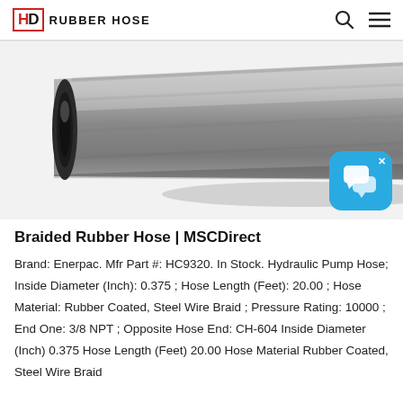HD RUBBER HOSE
[Figure (photo): Gray braided rubber hose shown diagonally, with circular opening visible at left end.]
Braided Rubber Hose | MSCDirect
Brand: Enerpac. Mfr Part #: HC9320. In Stock. Hydraulic Pump Hose; Inside Diameter (Inch): 0.375 ; Hose Length (Feet): 20.00 ; Hose Material: Rubber Coated, Steel Wire Braid ; Pressure Rating: 10000 ; End One: 3/8 NPT ; Opposite Hose End: CH-604 Inside Diameter (Inch) 0.375 Hose Length (Feet) 20.00 Hose Material Rubber Coated, Steel Wire Braid